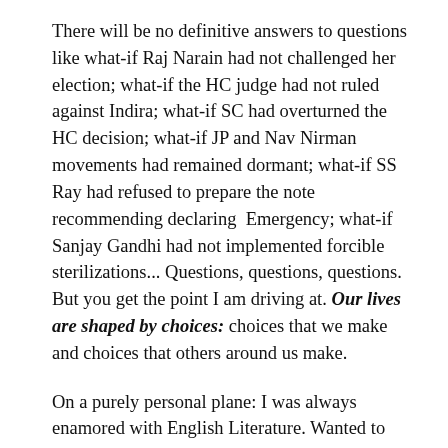There will be no definitive answers to questions like what-if Raj Narain had not challenged her election; what-if the HC judge had not ruled against Indira; what-if SC had overturned the HC decision; what-if JP and Nav Nirman movements had remained dormant; what-if SS Ray had refused to prepare the note recommending declaring Emergency; what-if Sanjay Gandhi had not implemented forcible sterilizations... Questions, questions, questions. But you get the point I am driving at. Our lives are shaped by choices: choices that we make and choices that others around us make.
On a purely personal plane: I was always enamored with English Literature. Wanted to study and then teach English as a career. When I chose Humanities everyone advised me my life would be ruined. I would live on crumbs...